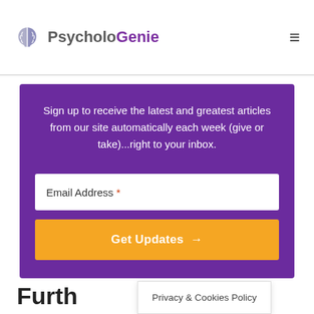[Figure (logo): PsycholoGenie website logo with brain icon]
Sign up to receive the latest and greatest articles from our site automatically each week (give or take)...right to your inbox.
Email Address *
Get Updates →
Furth
Privacy & Cookies Policy